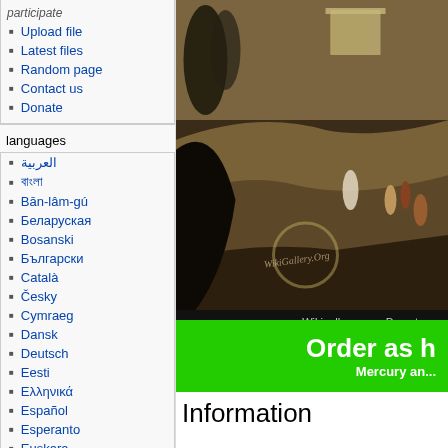participate
Upload file
Latest files
Random page
Contact us
Donate
languages
العربية
বাংলা
Bân-lâm-gú
Беларуская
Bosanski
Български
Català
Česky
Cymraeg
Dansk
Deutsch
Eesti
Ελληνικά
Español
Esperanto
Euskara
فارسی
Français
[Figure (photo): Classical painting showing a landscape with a temple, figures in robes, and natural scenery. Watermarked with WikiGallery.org.]
Wikigallery.org – Do not us...
Order as h... Mercury an...
Information